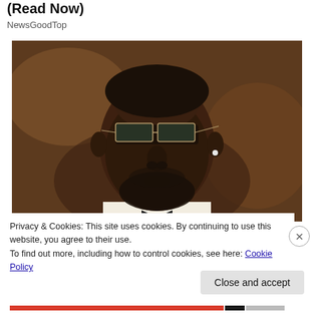(Read Now)
NewsGoodTop
[Figure (photo): Close-up photo of a man wearing rectangular frameless sunglasses and a white suit jacket with a black bow tie. He has a beard and a diamond stud earring. The background is blurred with warm brown tones.]
Privacy & Cookies: This site uses cookies. By continuing to use this website, you agree to their use.
To find out more, including how to control cookies, see here: Cookie Policy
Close and accept